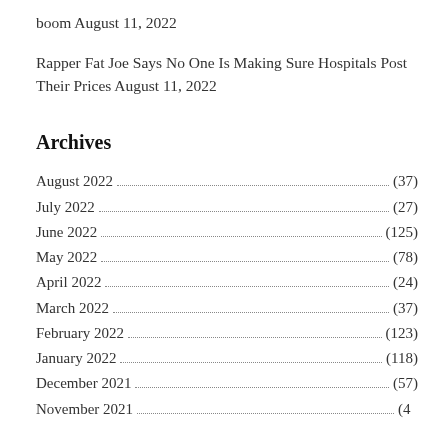boom August 11, 2022
Rapper Fat Joe Says No One Is Making Sure Hospitals Post Their Prices August 11, 2022
Archives
August 2022 (37)
July 2022 (27)
June 2022 (125)
May 2022 (78)
April 2022 (24)
March 2022 (37)
February 2022 (123)
January 2022 (118)
December 2021 (57)
November 2021 (...)